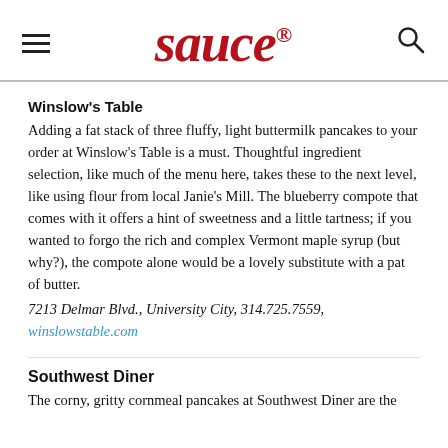sauce
Winslow's Table
Adding a fat stack of three fluffy, light buttermilk pancakes to your order at Winslow's Table is a must. Thoughtful ingredient selection, like much of the menu here, takes these to the next level, like using flour from local Janie's Mill. The blueberry compote that comes with it offers a hint of sweetness and a little tartness; if you wanted to forgo the rich and complex Vermont maple syrup (but why?), the compote alone would be a lovely substitute with a pat of butter.
7213 Delmar Blvd., University City, 314.725.7559, winslowstable.com
Southwest Diner
The corny, gritty cornmeal pancakes at Southwest Diner are the